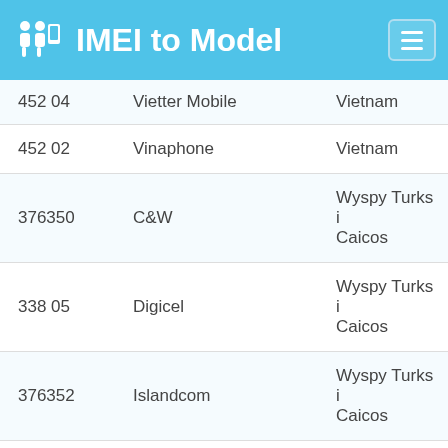IMEI to Model
| Code | Operator | Country |
| --- | --- | --- |
| 452 04 | Vietter Mobile | Vietnam |
| 452 02 | Vinaphone | Vietnam |
| 376350 | C&W | Wyspy Turks i Caicos |
| 338 05 | Digicel | Wyspy Turks i Caicos |
| 376352 | Islandcom | Wyspy Turks i Caicos |
| 421 04 | HiTS-UNITEL | Yemen |
| 421 02 | MTN | Yemen |
| 421 01 | SabaFon | Yemen |